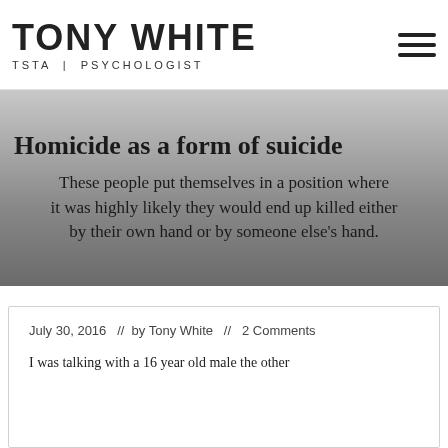TONY WHITE
TSTA | PSYCHOLOGIST
Homicide as a form of suicide
These people put themselves in a position where it was highly likely they would end up killed either by their own hand or by someone else's hand.
July 30, 2016  //  by Tony White  //  2 Comments
I was talking with a 16 year old male the other